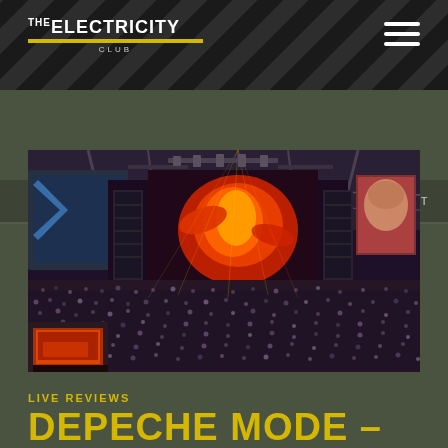THE ELECTRICITY CLUB
HOME » LIVE REVIEWS » DEPECHE MODE – STADIUM SPIRIT
[Figure (photo): Aerial view of a packed stadium concert showing a massive crowd, large stage with red/orange lighting effects, LED screens showing a performer, and stage rigging structure overhead.]
LIVE REVIEWS
DEPECHE MODE –